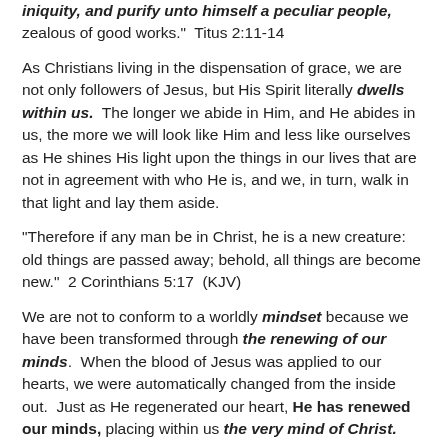iniquity, and purify unto himself a peculiar people, zealous of good works."  Titus 2:11-14
As Christians living in the dispensation of grace, we are not only followers of Jesus, but His Spirit literally dwells within us.  The longer we abide in Him, and He abides in us, the more we will look like Him and less like ourselves as He shines His light upon the things in our lives that are not in agreement with who He is, and we, in turn, walk in that light and lay them aside.
"Therefore if any man be in Christ, he is a new creature: old things are passed away; behold, all things are become new."  2 Corinthians 5:17  (KJV)
We are not to conform to a worldly mindset because we have been transformed through the renewing of our minds.  When the blood of Jesus was applied to our hearts, we were automatically changed from the inside out.  Just as He regenerated our heart, He has renewed our minds, placing within us the very mind of Christ.
"For who hath known the mind of the Lord, that he